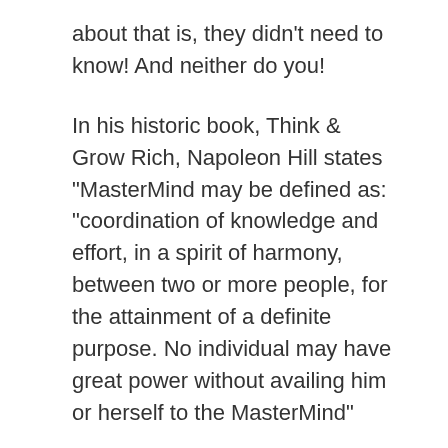about that is, they didn't need to know! And neither do you!
In his historic book, Think & Grow Rich, Napoleon Hill states "MasterMind may be defined as: "coordination of knowledge and effort, in a spirit of harmony, between two or more people, for the attainment of a definite purpose. No individual may have great power without availing him or herself to the MasterMind"
I love that because no two minds are alike, so when we...
Continue Reading...